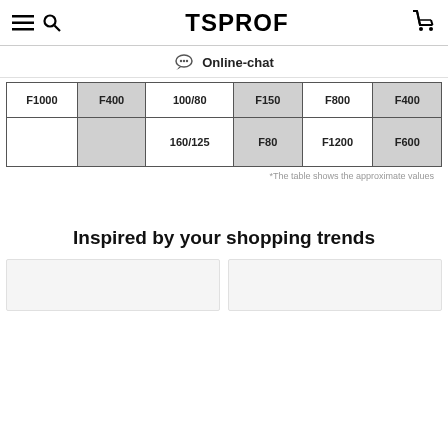TSPROF
Online-chat
| F1000 | F400 | 100/80 | F150 | F800 | F400 |
|  |  | 160/125 | F80 | F1200 | F600 |
*The table shows the approximate values
Inspired by your shopping trends